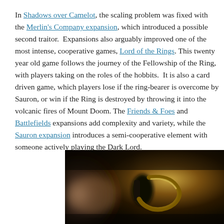In Shadows over Camelot, the scaling problem was fixed with the Merlin's Company expansion, which introduced a possible second traitor. Expansions also arguably improved one of the most intense, cooperative games, Lord of the Rings. This twenty year old game follows the journey of the Fellowship of the Ring, with players taking on the roles of the hobbits. It is also a card driven game, which players lose if the ring-bearer is overcome by Sauron, or win if the Ring is destroyed by throwing it into the volcanic fires of Mount Doom. The Friends & Foes and Battlefields expansions add complexity and variety, while the Sauron expansion introduces a semi-cooperative element with someone actively playing the Dark Lord.
[Figure (photo): Close-up dark photograph of a golden ring with a black clasp or setting, blurred background with dark brown and gold tones.]